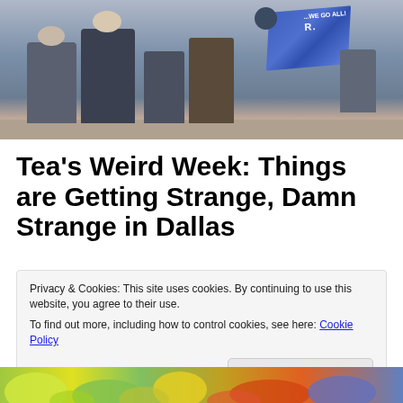[Figure (photo): Outdoor photo showing people standing on a sidewalk, one carrying a blue Trump campaign flag. Background includes chairs and a concrete pillar.]
Tea's Weird Week: Things are Getting Strange, Damn Strange in Dallas
Privacy & Cookies: This site uses cookies. By continuing to use this website, you agree to their use.
To find out more, including how to control cookies, see here: Cookie Policy
Close and accept
[Figure (illustration): Colorful illustrated image visible at bottom of page, partial view showing bright green, yellow, and purple colors.]